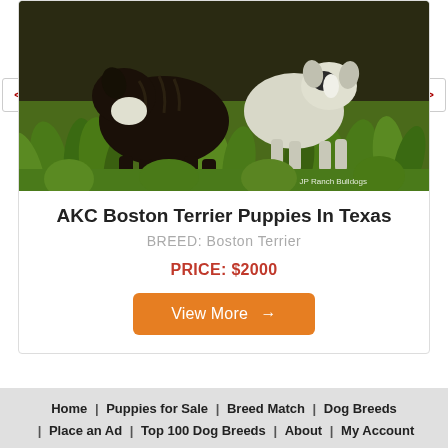[Figure (photo): Two Boston Terrier dogs in grass, brindle and white coloring. Watermark reads 'JP Ranch Bulldogs']
AKC Boston Terrier Puppies In Texas
BREED: Boston Terrier
PRICE: $2000
View More →
Home | Puppies for Sale | Breed Match | Dog Breeds | Place an Ad | Top 100 Dog Breeds | About | My Account